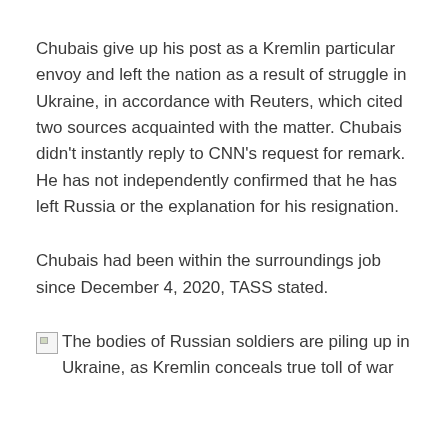Chubais give up his post as a Kremlin particular envoy and left the nation as a result of struggle in Ukraine, in accordance with Reuters, which cited two sources acquainted with the matter. Chubais didn't instantly reply to CNN's request for remark. He has not independently confirmed that he has left Russia or the explanation for his resignation.
Chubais had been within the surroundings job since December 4, 2020, TASS stated.
[Figure (illustration): Broken image icon followed by caption text: The bodies of Russian soldiers are piling up in Ukraine, as Kremlin conceals true toll of war]